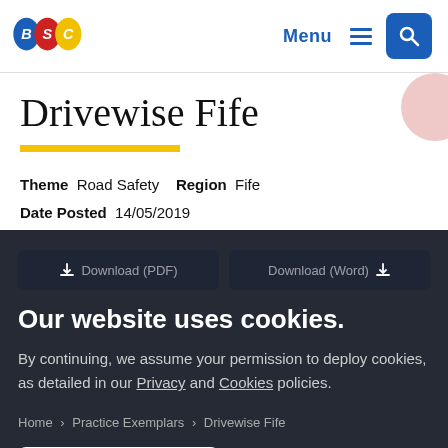BSC logo, Menu, Search
Drivewise Fife
Theme  Road Safety   Region  Fife
Date Posted  14/05/2019
Our website uses cookies.
By continuing, we assume your permission to deploy cookies, as detailed in our Privacy and Cookies policies.
Home > Practice Exemplars > Drivewise Fife
Accept & close
Drivewise Fife